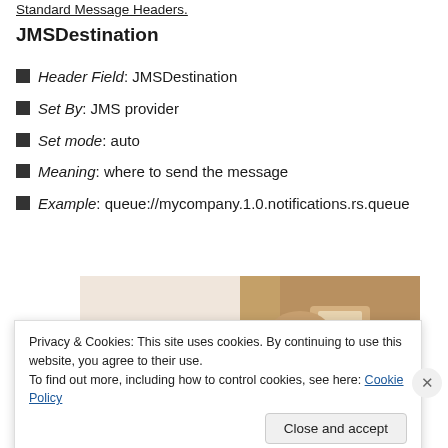Standard Message Headers.
JMSDestination
Header Field: JMSDestination
Set By: JMS provider
Set mode: auto
Meaning: where to send the message
Example: queue://mycompany.1.0.notifications.rs.queue
[Figure (photo): Person using mobile device, partially visible with warm background]
Privacy & Cookies: This site uses cookies. By continuing to use this website, you agree to their use.
To find out more, including how to control cookies, see here: Cookie Policy
Close and accept